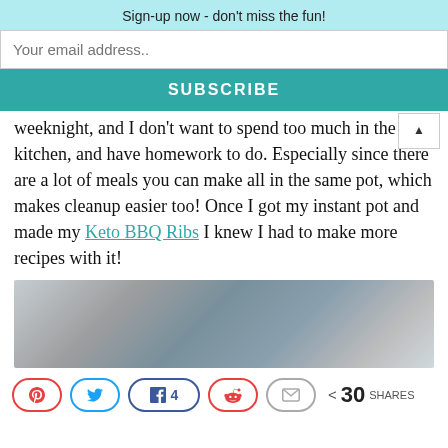Sign-up now - don't miss the fun!
Your email address..
SUBSCRIBE
weeknight, and I don't want to spend too much in the kitchen, and have homework to do. Especially since there are a lot of meals you can make all in the same pot, which makes cleanup easier too!  Once I got my instant pot and made my Keto BBQ Ribs I knew I had to make more recipes with it!
[Figure (photo): Blurred/obscured food photo, likely showing a dish made in an instant pot]
30 SHARES